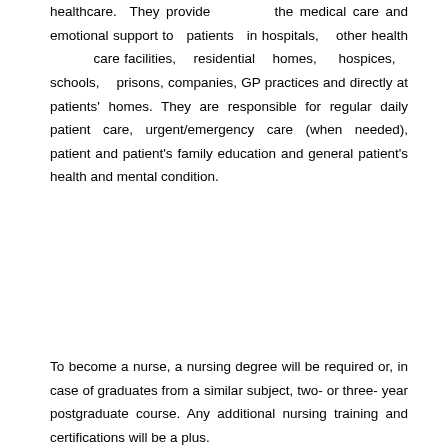healthcare.  They provide  the medical care and emotional support to  patients  in hospitals,  other health  care facilities,  residential  homes,  hospices,  schools,  prisons, companies, GP practices and directly at patients' homes. They are responsible for regular daily patient care, urgent/emergency care (when needed), patient and patient's family education and general patient's health and mental condition.
To become a nurse, a nursing degree will be required or, in case of graduates from a similar subject, two- or three- year postgraduate course. Any additional nursing training and certifications will be a plus.